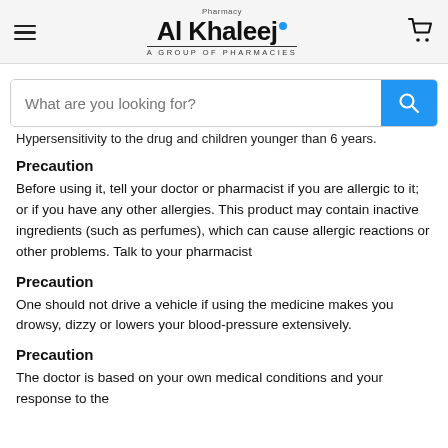Al Khaleej Pharmacy — A Group of Pharmacies
Hypersensitivity to the drug and children younger than 6 years.
Precaution
Before using it, tell your doctor or pharmacist if you are allergic to it; or if you have any other allergies. This product may contain inactive ingredients (such as perfumes), which can cause allergic reactions or other problems. Talk to your pharmacist
Precaution
One should not drive a vehicle if using the medicine makes you drowsy, dizzy or lowers your blood-pressure extensively.
Precaution
The doctor is based on your own medical conditions and your response to the...